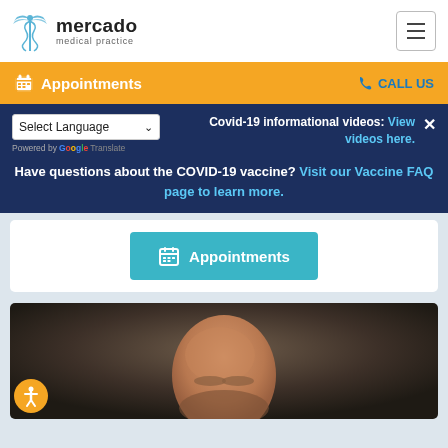mercado medical practice
Appointments
CALL US
Select Language - Powered by Google Translate
Covid-19 informational videos: View videos here.
Have questions about the COVID-19 vaccine? Visit our Vaccine FAQ page to learn more.
Appointments
[Figure (photo): Headshot of a bald male doctor/physician against a dark background]